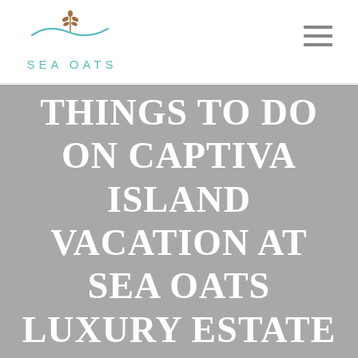[Figure (logo): Sea Oats logo with teal wave and wheat stalk graphic above teal text reading SEA OATS]
[Figure (other): Hamburger menu icon (three horizontal lines) in gray, top right of header]
THINGS TO DO ON CAPTIVA ISLAND VACATION AT SEA OATS LUXURY ESTATE